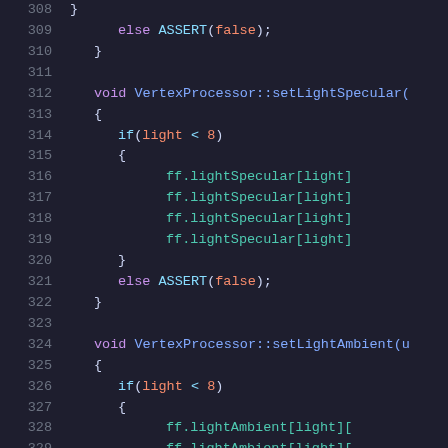[Figure (screenshot): Source code listing showing C++ methods for VertexProcessor class, lines 308-329, with syntax highlighting on dark background. Includes setLightSpecular and setLightAmbient method implementations with if/else branches checking light < 8 condition and assigning ff.lightSpecular and ff.lightAmbient array members.]